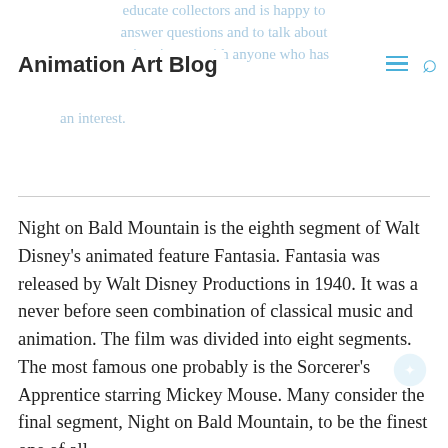Animation Art Blog
Night on Bald Mountain is the eighth segment of Walt Disney's animated feature Fantasia. Fantasia was released by Walt Disney Productions in 1940. It was a never before seen combination of classical music and animation. The film was divided into eight segments. The most famous one probably is the Sorcerer's Apprentice starring Mickey Mouse. Many consider the final segment, Night on Bald Mountain, to be the finest one of all.
Actually that last segment was Night on Bald Mountain dissolving into Ave Maria. I think the dazzling imagery combined with ghosts,